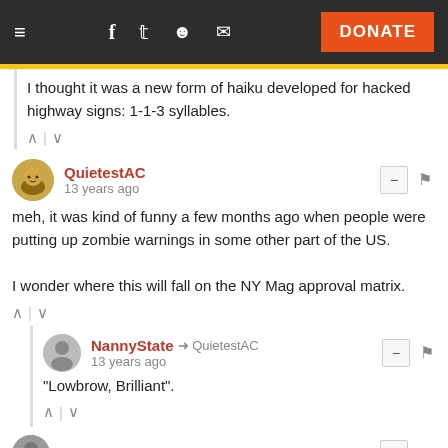≡  f  𝕥  reddit  ✉  DONATE
I thought it was a new form of haiku developed for hacked highway signs: 1-1-3 syllables.
QuietestAC
13 years ago
meh, it was kind of funny a few months ago when people were putting up zombie warnings in some other part of the US.

I wonder where this will fall on the NY Mag approval matrix.
NannyState → QuietestAC
13 years ago
"Lowbrow, Brilliant".
butterbutter